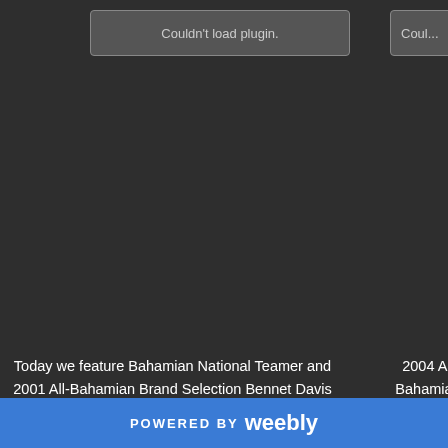[Figure (other): Couldn't load plugin. placeholder box on left]
[Figure (other): Couldn't load plugin. placeholder box on right (partially cropped)]
Today we feature Bahamian National Teamer and 2001 All-Bahamian Brand Selection Bennet Davis After stops in the NBA, NBDL and The Middle East, the 6'8 Forward is still doing his thing...
2004 All Bahamian Player of the Year playing professiona back at some foot Division I Univers
Februa
2013 Bahamian High
Release Date
10.ST AUGUSTINE'S COLLEGE (BAISS):  Despite alot of defections t
POWERED BY weebly